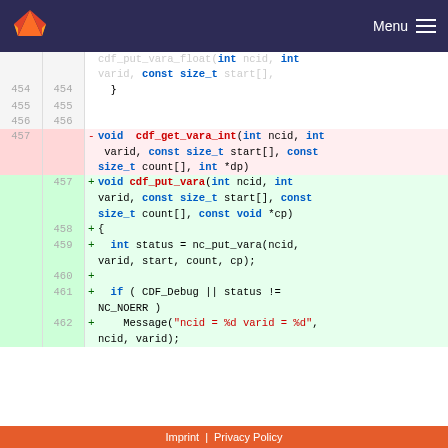GitLab logo | Menu
[Figure (screenshot): Code diff view showing removal of cdf_get_vara_int and addition of cdf_put_vara function in C code]
Imprint | Privacy Policy